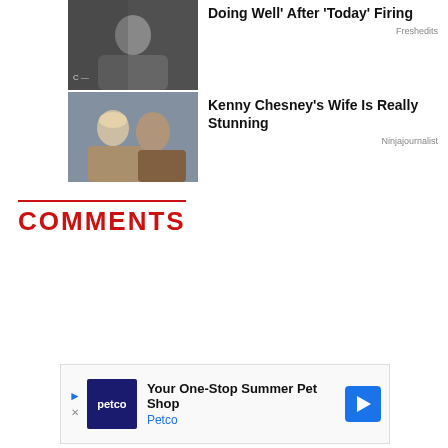[Figure (photo): Celebrity photo thumbnail for first article]
Doing Well' After 'Today' Firing
Freshedits
[Figure (photo): Kenny Chesney and wife photo thumbnail]
Kenny Chesney's Wife Is Really Stunning
Ninjajournalist
COMMENTS
[Figure (other): Petco advertisement: Your One-Stop Summer Pet Shop]